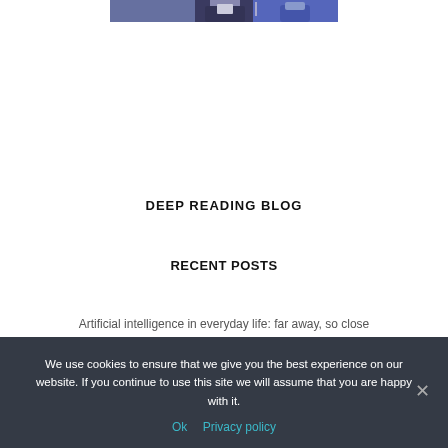[Figure (photo): Top portion of a photo showing a person in a suit speaking at what appears to be a conference or event, with a blue background and a microphone visible.]
DEEP READING BLOG
RECENT POSTS
Artificial intelligence in everyday life: far away, so close
We use cookies to ensure that we give you the best experience on our website. If you continue to use this site we will assume that you are happy with it.
Ok   Privacy policy